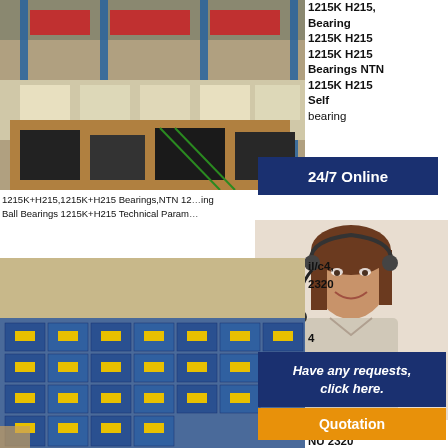[Figure (photo): Warehouse interior with stacked boxes and industrial shelving units containing bearings and industrial parts]
1215K H215, Bearing 1215K H215 1215K H215 Bearings NTN 1215K H215 Self bearing
[Figure (infographic): 24/7 Online banner in dark blue]
1215K+H215,1215K+H215 Bearings,NTN 1215K+H215 ...ing Ball Bearings 1215K+H215 Technical Param...
[Figure (photo): Customer service representative woman with headset smiling]
il/c4, 2320
[Figure (photo): Warehouse stacked with blue and yellow branded bearing boxes]
4 F
[Figure (infographic): Have any requests, click here. button with Quotation in orange]
Bearings? Bearing NU 2320 ECML/C4 NU